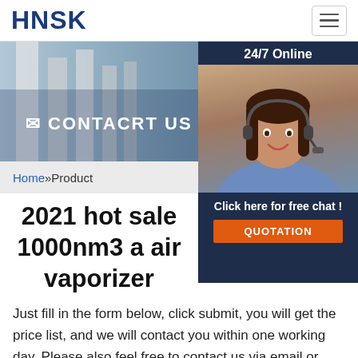HNSK
[Figure (photo): Hero banner showing industrial cooling towers/chimneys with blue sky background, with CONTACT US text overlay and envelope and phone icons]
[Figure (photo): Customer service agent (woman with headset) photo with 24/7 Online label, 'Click here for free chat!' text, and orange QUOTATION button on dark navy background panel]
Home »Product
2021 hot sale 1000nm3 a air vaporizer
Just fill in the form below, click submit, you will get the price list, and we will contact you within one working day. Please also feel free to contact us via email or phone. (* is required).